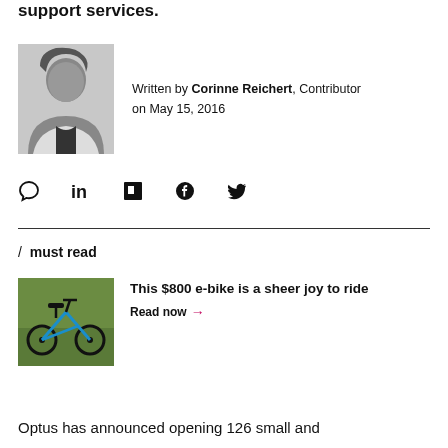support services.
[Figure (photo): Black and white headshot photo of Corinne Reichert, a woman with long dark hair wearing a white jacket]
Written by Corinne Reichert, Contributor on May 15, 2016
[Figure (infographic): Social sharing icons: comment bubble, LinkedIn, Flipboard, Facebook, Twitter]
/ must read
[Figure (photo): Photo of a blue folding e-bike on grass]
This $800 e-bike is a sheer joy to ride
Read now →
Optus has announced opening 126 small and